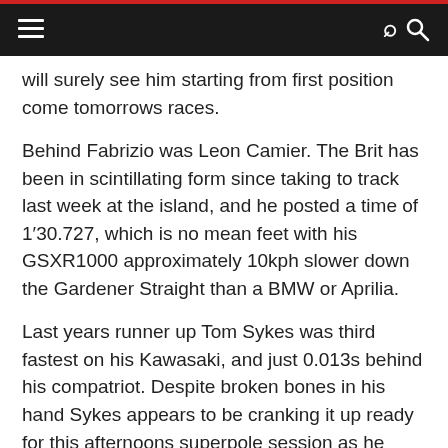Navigation bar with hamburger menu and search icon
will surely see him starting from first position come tomorrows races.
Behind Fabrizio was Leon Camier. The Brit has been in scintillating form since taking to track last week at the island, and he posted a time of 1′30.727, which is no mean feet with his GSXR1000 approximately 10kph slower down the Gardener Straight than a BMW or Aprilia.
Last years runner up Tom Sykes was third fastest on his Kawasaki, and just 0.013s behind his compatriot. Despite broken bones in his hand Sykes appears to be cranking it up ready for this afternoons superpole session as he moved closer towards the top of the timing screens in every session.